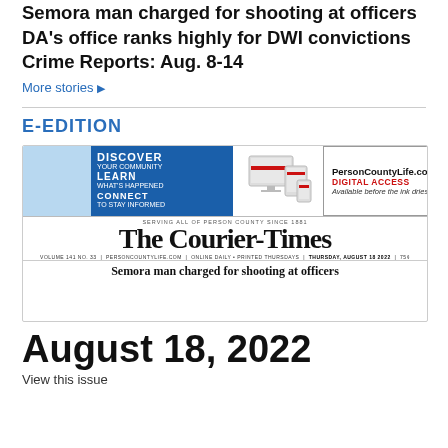Semora man charged for shooting at officers
DA's office ranks highly for DWI convictions
Crime Reports: Aug. 8-14
More stories ▶
E-EDITION
[Figure (screenshot): E-edition front page of The Courier-Times newspaper dated Thursday, August 18, 2022, showing a digital access advertisement and the newspaper masthead.]
August 18, 2022
View this issue